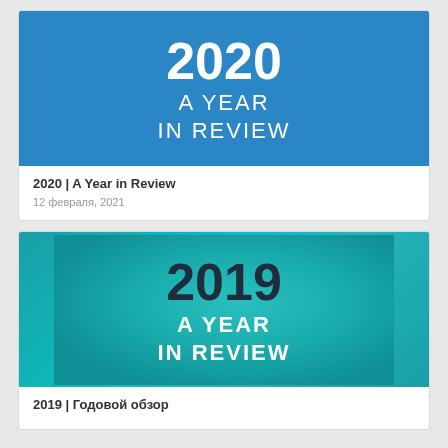[Figure (illustration): Blue banner image with text '2020 A YEAR IN REVIEW' in white on blue background]
2020 | A Year in Review
12 февраля, 2021
[Figure (illustration): Teal/cyan banner image with text '2019 A YEAR IN REVIEW', year in dark color and subtitle in white]
2019 | Годовой обзор